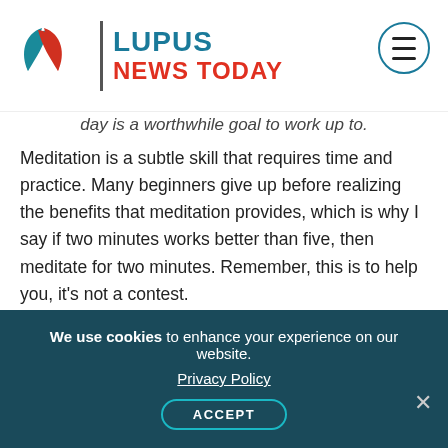Lupus News Today
day is a worthwhile goal to work up to.
Meditation is a subtle skill that requires time and practice. Many beginners give up before realizing the benefits that meditation provides, which is why I say if two minutes works better than five, then meditate for two minutes. Remember, this is to help you, it’s not a contest.
If you make meditation one of your daily habits, I think it won’t take long before you consider it to be one of your most important activities.
***
We use cookies to enhance your experience on our website. Privacy Policy ACCEPT